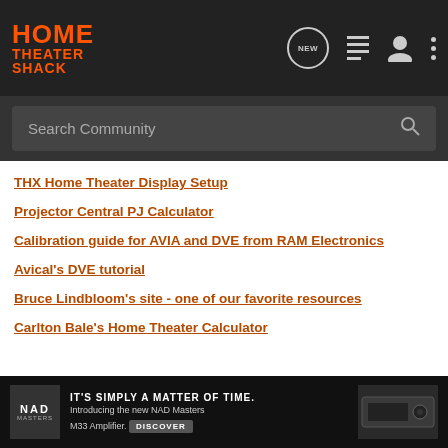[Figure (logo): Home Theater Shack logo in orange on dark nav bar]
[Figure (screenshot): Search Community bar with magnifying glass icon]
THX Home Theater Display Setup
Projector Central PJ Calculator
Calibration guide for AVIA and DVE from RAM Electronics
Avical's DVE tutorial
Bruce Lindbloom's site - one of our favorite resources
Carlton Bale's Home Theater Calculator
[Figure (photo): NAD Masters M33 Amplifier advertisement banner: IT'S SIMPLY A MATTER OF TIME. Introducing the new NAD Masters M33 Amplifier. DISCOVER]